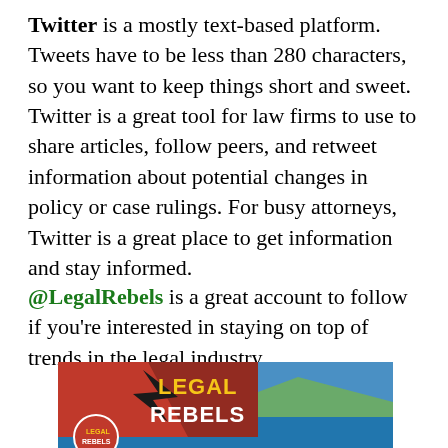Twitter is a mostly text-based platform. Tweets have to be less than 280 characters, so you want to keep things short and sweet. Twitter is a great tool for law firms to use to share articles, follow peers, and retweet information about potential changes in policy or case rulings. For busy attorneys, Twitter is a great place to get information and stay informed.
@LegalRebels is a great account to follow if you're interested in staying on top of trends in the legal industry.
[Figure (photo): Photo showing a Legal Rebels banner/flag with text 'LEGAL REBELS' against a scenic outdoor background with water and mountains. A circular profile image with 'LEGAL REBELS' text is visible in the lower left.]